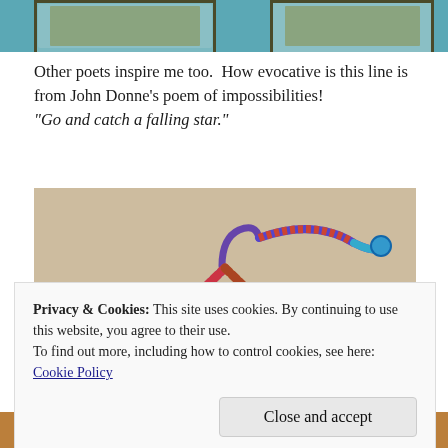[Figure (photo): Partial view of two craft/textile items on a teal/blue background, cropped at top]
Other poets inspire me too.  How evocative is this line is from John Donne’s poem of impossibilities! “Go and catch a falling star.”
[Figure (photo): A colorful yarn-wrapped coat hanger shaped into a figure, placed on a beige/cream carpet]
Privacy & Cookies: This site uses cookies. By continuing to use this website, you agree to their use.
To find out more, including how to control cookies, see here: Cookie Policy
[Figure (photo): Partial bottom strip of colorful textile/craft items]